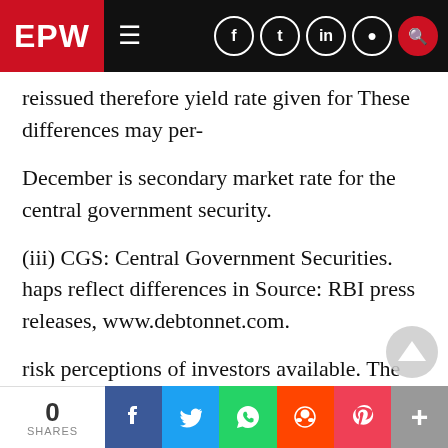EPW
reissued therefore yield rate given for These differences may per-
December is secondary market rate for the central government security.
(iii) CGS: Central Government Securities. haps reflect differences in Source: RBI press releases, www.debtonnet.com.
risk perceptions of investors available. The RBI offers such data as part about the issuer, the complex structure of of its Handbook of Statistics, which throws the bond and differences in rati In the some light on this. absence of consistent
0 SHARES